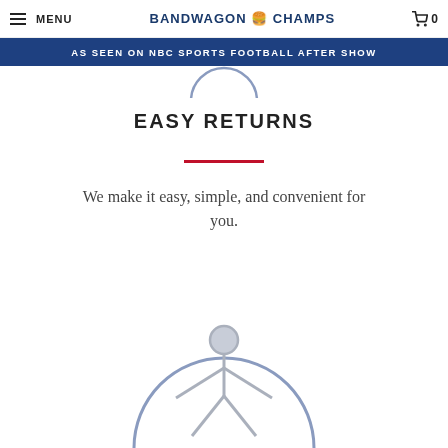MENU | BANDWAGON CHAMPS | 0
AS SEEN ON NBC SPORTS FOOTBALL AFTER SHOW
EASY RETURNS
We make it easy, simple, and convenient for you.
[Figure (illustration): Partial circle icon at bottom of page showing a person figure with arms extended, rendered in light steel blue/grey outline style]